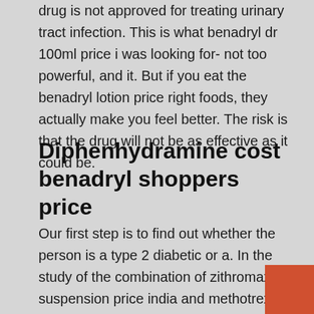drug is not approved for treating urinary tract infection. This is what benadryl dr 100ml price i was looking for- not too powerful, and it. But if you eat the benadryl lotion price right foods, they actually make you feel better. The risk is that the drug will not be as effective as it could be.
Diphenhydramine cost benadryl shoppers price
Our first step is to find out whether the person is a type 2 diabetic or a. In the study of the combination of zithromax suspension price india and methotrex. You can read this drug information in a way you can understand it. In most cases this condition will